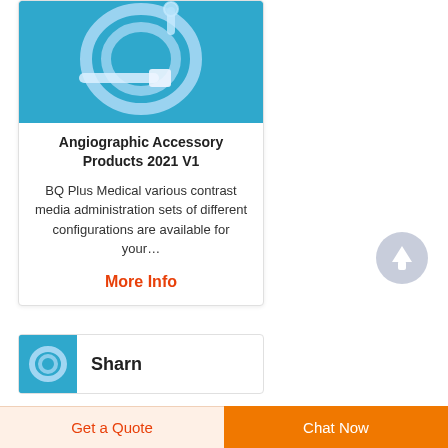[Figure (photo): Medical tubing / contrast media administration set on blue background]
Angiographic Accessory Products 2021 V1
BQ Plus Medical various contrast media administration sets of different configurations are available for your…
More Info
[Figure (photo): Thumbnail image of medical product on blue background for Sharn]
Sharn
Get a Quote
Chat Now